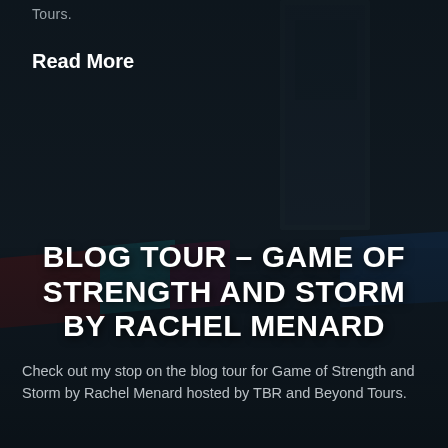Tours.
Read More
[Figure (photo): Photograph of multiple book spines arranged on a surface, darkened with overlay. Visible titles include DEFY, WING AND FLAME, GEMINA, ILLUMINAE, and others. A copy of Game of Strength and Storm by Rachel Menard is visible in the foreground.]
BLOG TOUR – GAME OF STRENGTH AND STORM BY RACHEL MENARD
Check out my stop on the blog tour for Game of Strength and Storm by Rachel Menard hosted by TBR and Beyond Tours.